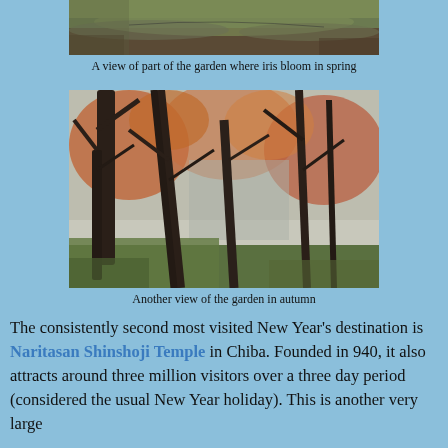[Figure (photo): A view of part of a Japanese garden showing curved earthen mounds or rows with brown leaves and green grass, partially cut off at top.]
A view of part of the garden where iris bloom in spring
[Figure (photo): Autumn view of a Japanese garden showing tall dark tree trunks with red and orange foliage in the background and green grass below.]
Another view of the garden in autumn
The consistently second most visited New Year's destination is Naritasan Shinshoji Temple in Chiba. Founded in 940, it also attracts around three million visitors over a three day period (considered the usual New Year holiday). This is another very large